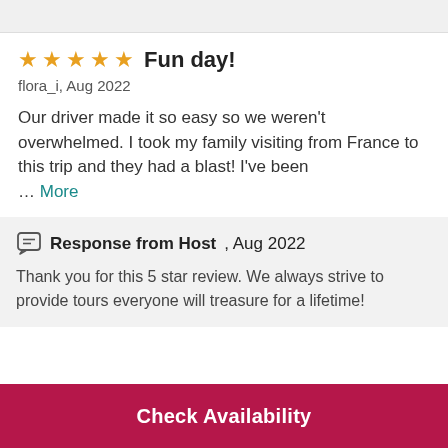Fun day!
flora_i, Aug 2022
Our driver made it so easy so we weren't overwhelmed. I took my family visiting from France to this trip and they had a blast! I've been … More
Response from Host, Aug 2022
Thank you for this 5 star review. We always strive to provide tours everyone will treasure for a lifetime!
Check Availability